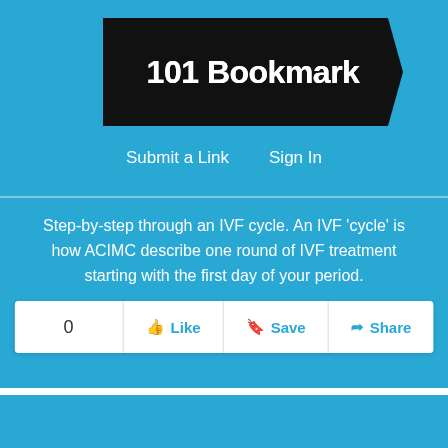101 Bookmark
Submit a Link   Sign In
Step-by-step through an IVF cycle. An IVF 'cycle' is how ACIMC describe one round of IVF treatment starting with the first day of your period.